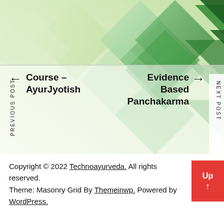[Figure (illustration): Green diamond/rhombus geometric pattern background in shades of green and yellow-green]
← Course – AyurJyotish
PREVIOUS POST
Evidence Based Panchakarma →
NEXT POST
Copyright © 2022 Technoayurveda. All rights reserved.
Theme: Masonry Grid By Themeinwp. Powered by WordPress.